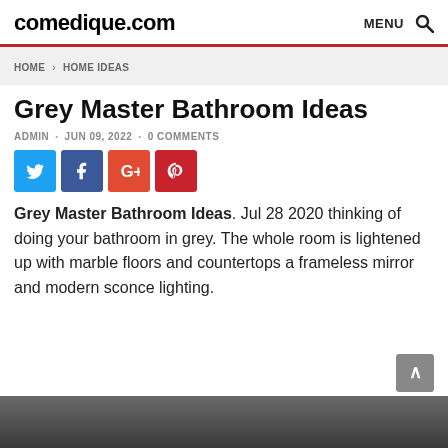comedique.com  MENU 🔍
HOME > HOME IDEAS
Grey Master Bathroom Ideas
ADMIN • JUN 09, 2022 • 0 COMMENTS
[Figure (other): Social sharing buttons: Twitter (blue), Facebook (dark blue), Google+ (orange-red), Pinterest (red)]
Grey Master Bathroom Ideas. Jul 28 2020 thinking of doing your bathroom in grey. The whole room is lightened up with marble floors and countertops a frameless mirror and modern sconce lighting.
[Figure (photo): Bottom strip showing a grey bathroom interior]